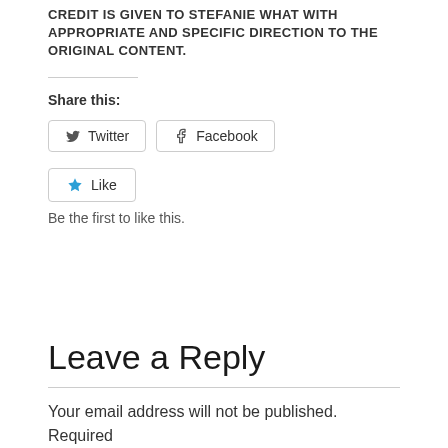CREDIT IS GIVEN TO STEFANIE WHAT WITH APPROPRIATE AND SPECIFIC DIRECTION TO THE ORIGINAL CONTENT.
Share this:
[Figure (other): Social share buttons: Twitter and Facebook]
[Figure (other): Like button widget]
Be the first to like this.
Leave a Reply
Your email address will not be published. Required